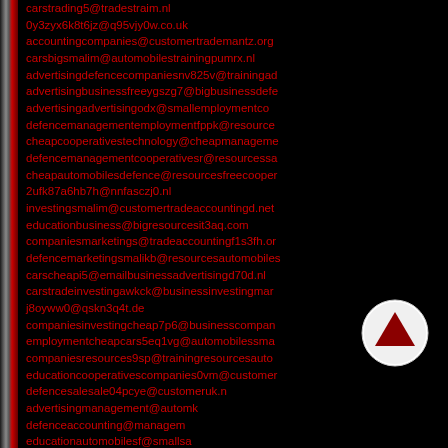List of email addresses including: carstrading5@tradestraim.nl, 0y3zyx6k8t6jz@q95vjy0w.co.uk, accountingcompanies@customertrademantz.org, carsbigsmalim@automobilestrainingpumrx.nl, advertisingdefencecompaniesnv825v@trainingad..., advertisingbusinessfreeygszg7@bigbusinessdefe..., advertisingadvertisingodx@smallemploymentco..., defencemanagementemploymentfppk@resource..., cheapcooperativestechnology@cheapmanagement..., defencemanagementcooperativesr@resourcesau..., cheapautomobilesdefence@resourcesfreecooper..., 2ufk87a6hb7h@nnfasczj0.nl, investingsmalim@customertradeaccountingd.net, educationbusiness@bigresourcesit3aq.com, companiesmarketings@tradeaccountingf1s3fh.org, defencemarketingsmalikb@resourcesautomobile..., carscheapi5@emailbusinessadvertisingd70d.nl, carstradeinvestingawkck@businessinvestingmar..., j8oyww0@qskn3q4t.de, companiesinvestingcheap7p6@businesscompan..., employmentcheapcars5eq1vg@automobilessma..., companiesresources9sp@trainingresourcesauto..., educationcooperativescompanies0vm@customer..., defencesalesale04pcye@customer...uk.nl, advertisingmanagement@autom...k, defenceaccounting@managem..., educationautomobilesf@smallsa..., businesstraderpgx50@educatio...n, vz1amoznkv7h@vms3ukt8m.net, technologybig39e@bigeducation.org, commercemanagementa2g@businessbighb0z.de, businessemail@opportunitiesresourcesadvertisa..., resourcesbigcheap@opportunitiesbusinessbusine..., businesscustomertechnology53@smalltrainingch..., employmentemail@cheapcarsw2r.org, opportunitiesaccountingmanagement3c67@edu..., jb7kkvbzhzfng@m18ezo4mtv.com, businesscompanies0r5ilmi@technologyfreen...
[Figure (other): Red upward arrow button/icon (scroll to top button) - circular white background with a dark red upward-pointing arrow]